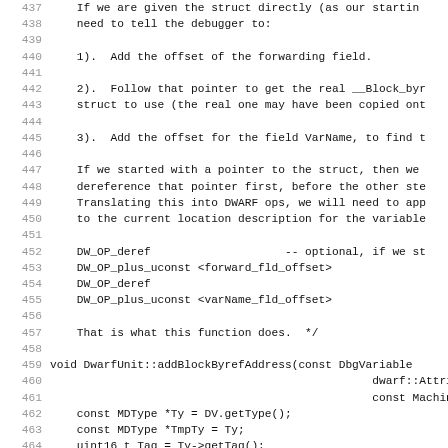Code listing lines 437-468, C++ source with DWARF comments
437: If we are given the struct directly (as our starting
438: need to tell the debugger to:
439: (blank)
440: 1). Add the offset of the forwarding field.
441: (blank)
442: 2). Follow that pointer to get the real __Block_byr
443: struct to use (the real one may have been copied ont
444: (blank)
445: 3). Add the offset for the field VarName, to find t
446: (blank)
447: If we started with a pointer to the struct, then we
448: dereference that pointer first, before the other ste
449: Translating this into DWARF ops, we will need to app
450: to the current location description for the variable
451: (blank)
452: DW_OP_deref                    -- optional, if we st
453: DW_OP_plus_uconst <forward_fld_offset>
454: DW_OP_deref
455: DW_OP_plus_uconst <varName_fld_offset>
456: (blank)
457: That is what this function does.  */
458: (blank)
459: void DwarfUnit::addBlockByrefAddress(const DbgVariable
460:                                                dwarf::Attribute A
461:                                                const MachineLocat
462:   const MDType *Ty = DV.getType();
463:   const MDType *TmpTy = Ty;
464:   uint16_t Tag = Ty->getTag();
465:   bool isPointer = false;
466: (blank)
467:   StringRef varName = DV.getName();
468: (blank)